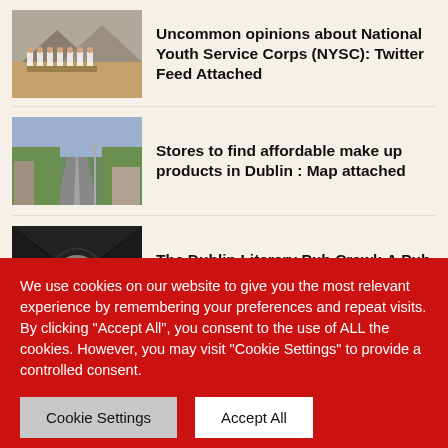[Figure (photo): Group of people in white shirts and khaki trousers (NYSC members) marching outdoors with hills in background]
Uncommon opinions about National Youth Service Corps (NYSC): Twitter Feed Attached
[Figure (photo): Street scene in Dublin with trees lining a road, urban setting]
Stores to find affordable make up products in Dublin : Map attached
[Figure (photo): Dark tunnel or alley with light at the end, nighttime scene]
The Dublin Literary Pub Crawl: A Pub Crawl With A Difference
We use cookies on our website to give you the most relevant experience by remembering your preferences and repeat visits. By clicking "Accept All", you consent to the use of ALL the cookies. However, you may visit "Cookie Settings" to provide a controlled consent.
Cookie Settings
Accept All